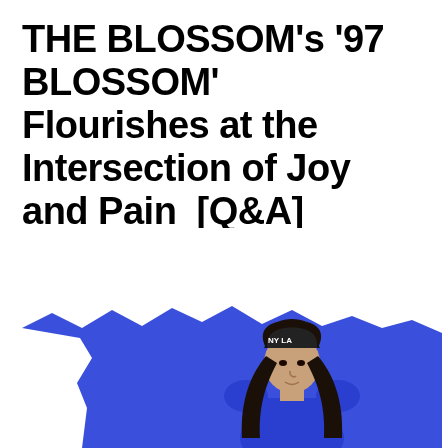THE BLOSSOM's '97 BLOSSOM'  Flourishes at the Intersection of Joy and Pain  [Q&A]
[Figure (photo): A person wearing a blue outfit and an NY/LA baseball cap, with long dark braided hair, positioned against a blue background with a torn white paper overlay element.]